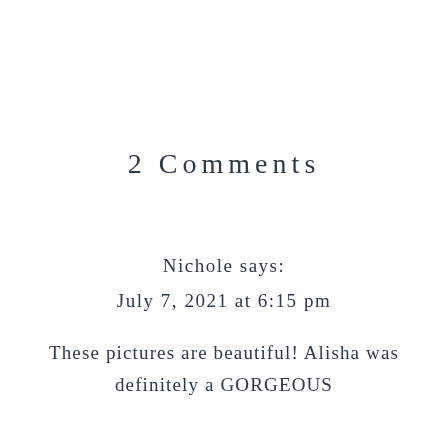2 Comments
Nichole says:
July 7, 2021 at 6:15 pm
These pictures are beautiful! Alisha was definitely a GORGEOUS